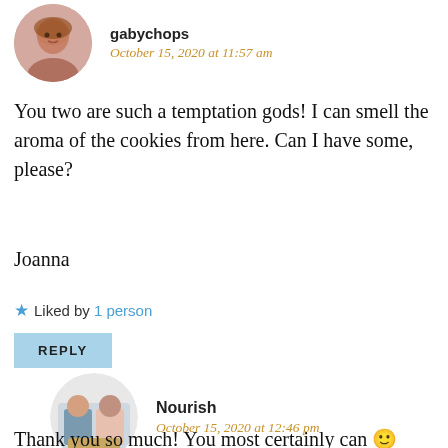gabychops
October 15, 2020 at 11:57 am
You two are such a temptation gods! I can smell the aroma of the cookies from here. Can I have some, please?
Joanna
★ Liked by 1 person
REPLY
[Figure (photo): Circular avatar photo of a woman with reddish hair]
Nourish
October 15, 2020 at 12:46 pm
[Figure (photo): Circular avatar photo of two people holding a baking dish]
Thank you so much! You most certainly can 🙂